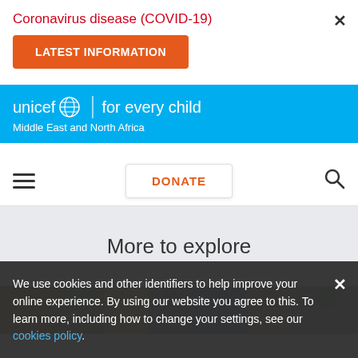Coronavirus disease (COVID-19)
LATEST INFORMATION
unicef for every child | Middle East and North Africa
DONATE
More to explore
[Figure (photo): A strip of photos showing children and adults from the Middle East and North Africa region]
We use cookies and other identifiers to help improve your online experience. By using our website you agree to this. To learn more, including how to change your settings, see our cookies policy.